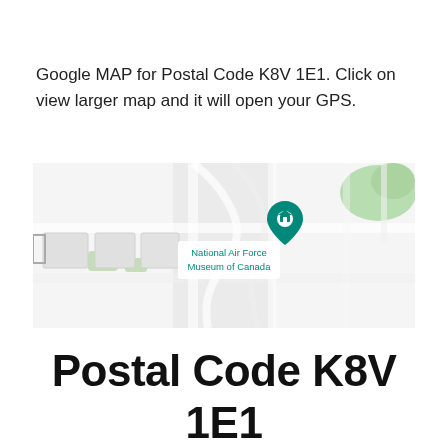Google MAP for Postal Code K8V 1E1. Click on view larger map and it will open your GPS.
[Figure (map): Google Map screenshot showing the area around National Air Force Museum of Canada, with a teal map pin marker labeled 'National Air Force Museum of Canada'. The map shows roads and green areas on a light grey background.]
Postal Code K8V 1E1 Latitude and Longitude